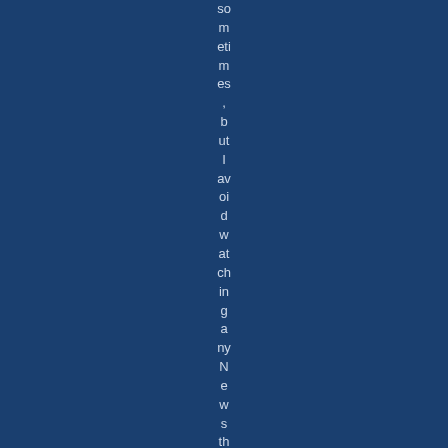sometimes, but I avoid watching any News they might pro...